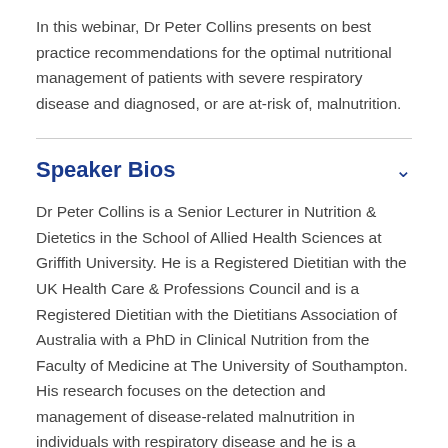In this webinar, Dr Peter Collins presents on best practice recommendations for the optimal nutritional management of patients with severe respiratory disease and diagnosed, or are at-risk of, malnutrition.
Speaker Bios
Dr Peter Collins is a Senior Lecturer in Nutrition & Dietetics in the School of Allied Health Sciences at Griffith University. He is a Registered Dietitian with the UK Health Care & Professions Council and is a Registered Dietitian with the Dietitians Association of Australia with a PhD in Clinical Nutrition from the Faculty of Medicine at The University of Southampton. His research focuses on the detection and management of disease-related malnutrition in individuals with respiratory disease and he is a member of the Patient-Centred Health Services research group at